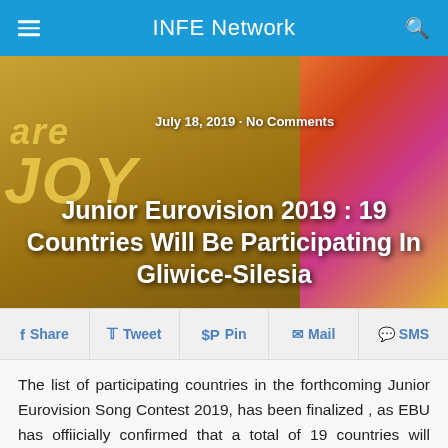INFE Network
[Figure (photo): Hero image background with warm golden tones showing 'are JOY' text and colorful right panel with geometric shapes]
July 18, 2019 · No Comments
Junior Eurovision 2019 : 19 Countries Will Be Participating In Gliwice-Silesia
Share  Tweet  Pin  Mail  SMS
The list of participating countries in the forthcoming Junior Eurovision Song Contest 2019, has been finalized , as EBU has offiicially confirmed that a total of 19 countries will compete in the next edition of the contest in Poland.